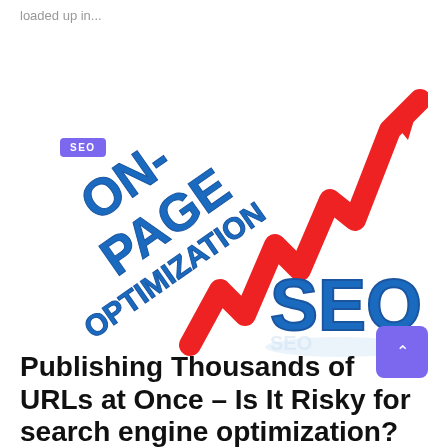loaded up in...
[Figure (illustration): On-Page Optimization SEO graphic with blue 3D text reading ON-PAGE OPTIMIZATION and a red zigzag upward-trending arrow with large blue 3D SEO letters on white background]
Publishing Thousands of URLs at Once – Is It Risky for search engine optimization?